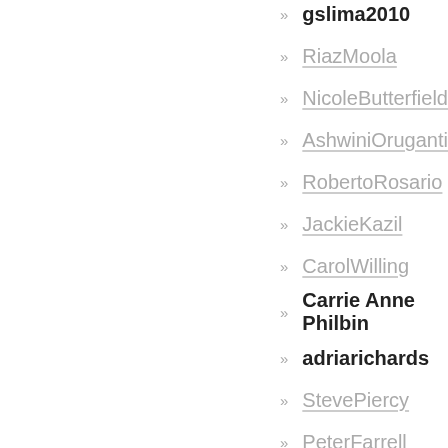gslima2010
RiazMoola
NicoleButterfield
AshwiniOruganti
RobertoRosario
JackieKazil
CarolWilling
Carrie Anne Philbin
adriarichards
StevePiercy
PeterFarrell
AnnaRavenscroft
FrankWiles
christopherchopin
ClaudiuPopa
AmiTavory
introom
FarisChebib